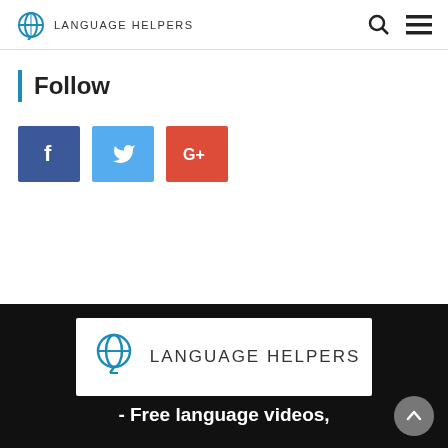Language Helpers
Follow
[Figure (other): Social media follow buttons: Facebook (blue), Twitter (light blue), Google+ (red)]
[Figure (logo): Language Helpers logo in white box with globe icon and text]
- Free language videos,